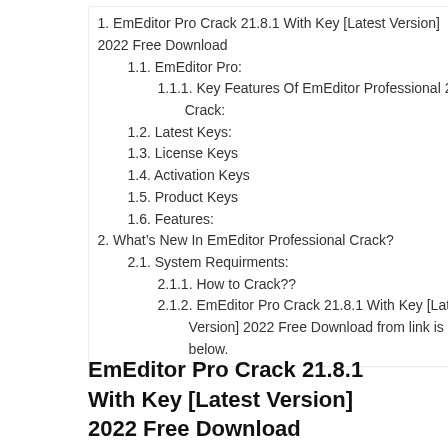1. EmEditor Pro Crack 21.8.1 With Key [Latest Version] 2022 Free Download
1.1. EmEditor Pro:
1.1.1. Key Features Of EmEditor Professional 21.8.1 Crack:
1.2. Latest Keys:
1.3. License Keys
1.4. Activation Keys
1.5. Product Keys
1.6. Features:
2. What’s New In EmEditor Professional Crack?
2.1. System Requirments:
2.1.1. How to Crack??
2.1.2. EmEditor Pro Crack 21.8.1 With Key [Latest Version] 2022 Free Download from link is given below.
EmEditor Pro Crack 21.8.1 With Key [Latest Version] 2022 Free Download